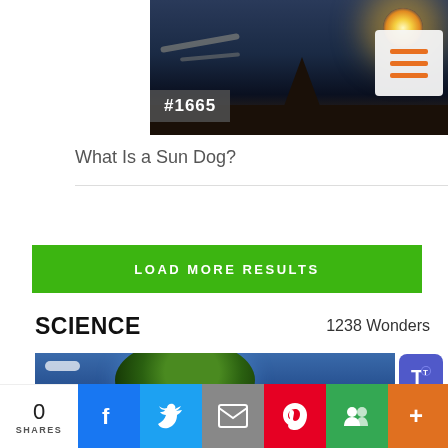[Figure (photo): Photo of a sun dog phenomenon over a church steeple silhouette at dusk with orange/golden halo around the sun. Badge '#1665' in lower left corner. Hamburger menu icon in upper right.]
What Is a Sun Dog?
LOAD MORE RESULTS
SCIENCE
1238 Wonders
[Figure (illustration): 3D rendered Earth globe against blue ocean background]
0 SHARES
Facebook share button
Twitter share button
Email share button
Pinterest share button
Google+ share button
+ more share button